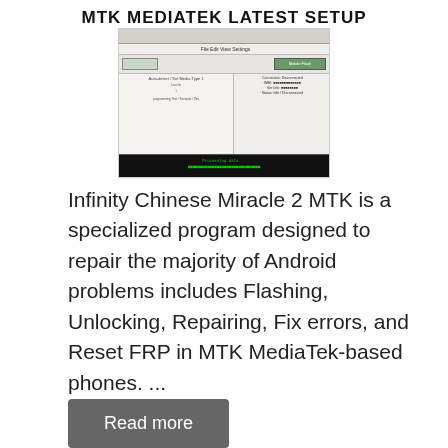MTK MEDIATEK LATEST SETUP
[Figure (screenshot): Screenshot of MTK MediaTek software interface showing a Windows application with toolbar, configuration panels, and a black console/terminal area with green text output]
Infinity Chinese Miracle 2 MTK is a specialized program designed to repair the majority of Android problems includes Flashing, Unlocking, Repairing, Fix errors, and Reset FRP in MTK MediaTek-based phones. ...
Read more